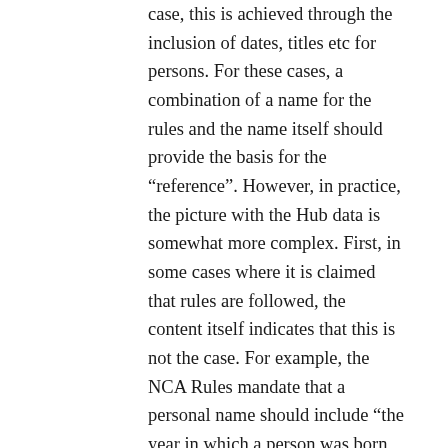case, this is achieved through the inclusion of dates, titles etc for persons. For these cases, a combination of a name for the rules and the name itself should provide the basis for the “reference”. However, in practice, the picture with the Hub data is somewhat more complex. First, in some cases where it is claimed that rules are followed, the content itself indicates that this is not the case. For example, the NCA Rules mandate that a personal name should include “the year in which a person was born or died, the span of years of his/her lifetime or the approximate period covered by his/her activities”, even if those dates are estimated. But there are cases in the data marked up as following the NCA Rules which do not meet this requirement – e.g. personal names providing only surname and forename with no dates – , which I suspect may result in ambiguous